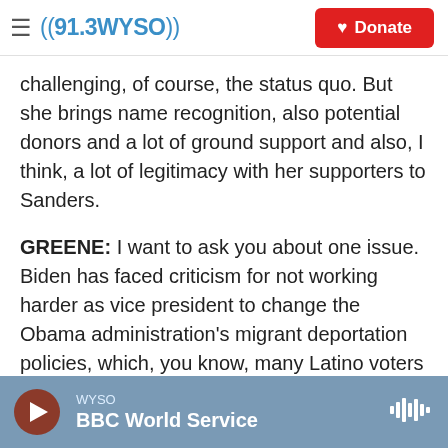((91.3WYSO)) Donate
challenging, of course, the status quo. But she brings name recognition, also potential donors and a lot of ground support and also, I think, a lot of legitimacy with her supporters to Sanders.
GREENE: I want to ask you about one issue. Biden has faced criticism for not working harder as vice president to change the Obama administration's migrant deportation policies, which, you know, many Latino voters found harsh and punitive. And we spoke with Congressman Cardenas yesterday, and he defended Biden in this way.
WYSO BBC World Service